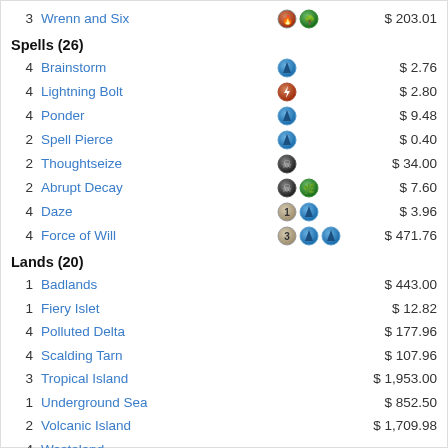3  Wrenn and Six  $ 203.01
Spells (26)
4  Brainstorm  $ 2.76
4  Lightning Bolt  $ 2.80
4  Ponder  $ 9.48
2  Spell Pierce  $ 0.40
2  Thoughtseize  $ 34.00
2  Abrupt Decay  $ 7.60
4  Daze  $ 3.96
4  Force of Will  $ 471.76
Lands (20)
1  Badlands  $ 443.00
1  Fiery Islet  $ 12.82
4  Polluted Delta  $ 177.96
4  Scalding Tarn  $ 107.96
3  Tropical Island  $ 1,953.00
1  Underground Sea  $ 852.50
2  Volcanic Island  $ 1,709.98
4  Wasteland
Sideboard (15)